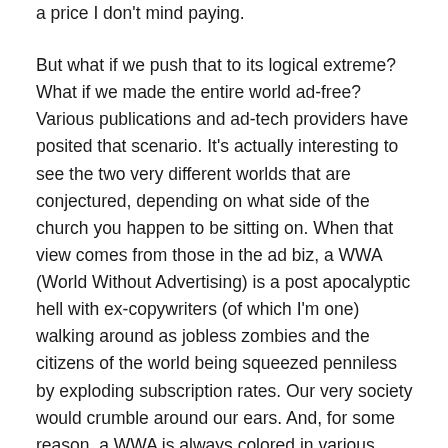a price I don't mind paying.
But what if we push that to its logical extreme? What if we made the entire world ad-free? Various publications and ad-tech providers have posited that scenario. It's actually interesting to see the two very different worlds that are conjectured, depending on what side of the church you happen to be sitting on. When that view comes from those in the ad biz, a WWA (World Without Advertising) is a post apocalyptic hell with ex-copywriters (of which I'm one) walking around as jobless zombies and the citizens of the world being squeezed penniless by exploding subscription rates. Our very society would crumble around our ears. And, for some reason, a WWA is always colored in various shades of desaturated grey, like Moscow circa 1982 or Apple's Big Brother ad.